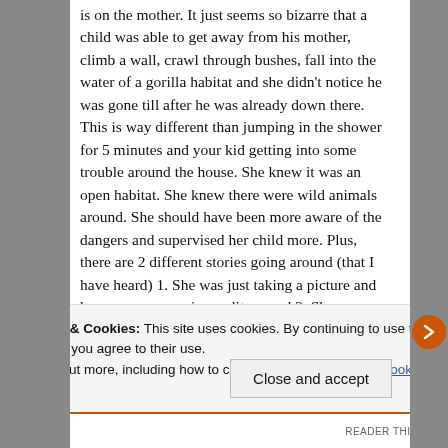is on the mother. It just seems so bizarre that a child was able to get away from his mother, climb a wall, crawl through bushes, fall into the water of a gorilla habitat and she didn't notice he was gone till after he was already down there. This is way different than jumping in the shower for 5 minutes and your kid getting into some trouble around the house. She knew it was an open habitat. She knew there were wild animals around. She should have been more aware of the dangers and supervised her child more. Plus, there are 2 different stories going around (that I have heard) 1. She was just taking a picture and her son was gone in a split second 2. She was attending to another child who was crying. Well which is it? Think about this.. If this
Privacy & Cookies: This site uses cookies. By continuing to use this website, you agree to their use.
To find out more, including how to control cookies, see here: Cookie Policy
Close and accept